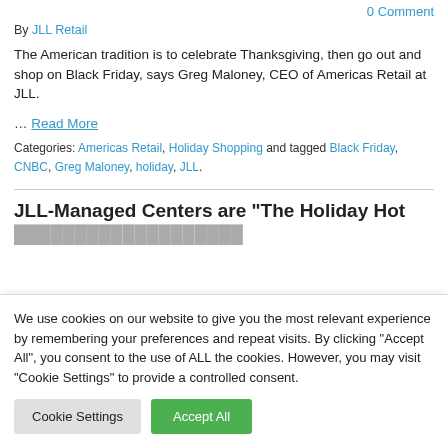0 Comment
By JLL Retail
The American tradition is to celebrate Thanksgiving, then go out and shop on Black Friday, says Greg Maloney, CEO of Americas Retail at JLL.
… Read More
Categories: Americas Retail, Holiday Shopping and tagged Black Friday, CNBC, Greg Maloney, holiday, JLL.
JLL-Managed Centers are “The Holiday Hot
We use cookies on our website to give you the most relevant experience by remembering your preferences and repeat visits. By clicking “Accept All”, you consent to the use of ALL the cookies. However, you may visit "Cookie Settings" to provide a controlled consent.